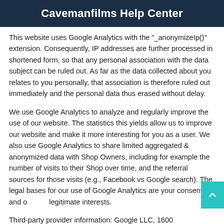Cavemanfilms Help Center
This website uses Google Analytics with the "_anonymizeIp()" extension. Consequently, IP addresses are further processed in shortened form, so that any personal association with the data subject can be ruled out. As far as the data collected about you relates to you personally, that association is therefore ruled out immediately and the personal data thus erased without delay.
We use Google Analytics to analyze and regularly improve the use of our website. The statistics this yields allow us to improve our website and make it more interesting for you as a user. We also use Google Analytics to share limited aggregated & anonymized data with Shop Owners, including for example the number of visits to their Shop over time, and the referral sources for those visits (e.g., Facebook vs Google search). The legal bases for our use of Google Analytics are your consent and our legitimate interests.
Third-party provider information: Google LLC, 1600 Amphitheatre Parkway, Mountain View, CA 94043, USA. See also